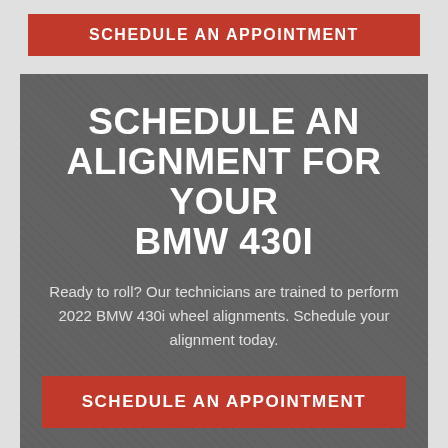SCHEDULE AN APPOINTMENT
SCHEDULE AN ALIGNMENT FOR YOUR BMW 430I
Ready to roll? Our technicians are trained to perform 2022 BMW 430i wheel alignments. Schedule your alignment today.
SCHEDULE AN APPOINTMENT